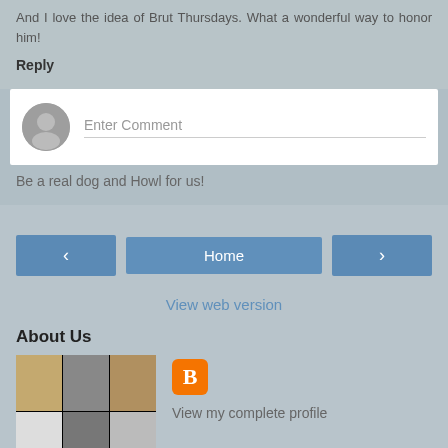And I love the idea of Brut Thursdays. What a wonderful way to honor him!
Reply
[Figure (other): Comment input box with user avatar placeholder and 'Enter Comment' placeholder text]
Be a real dog and Howl for us!
[Figure (other): Navigation buttons: left arrow, Home, right arrow]
View web version
About Us
[Figure (photo): Grid of 6 dog photos (3x2 grid) showing various dogs]
View my complete profile
Powered by Blogger.